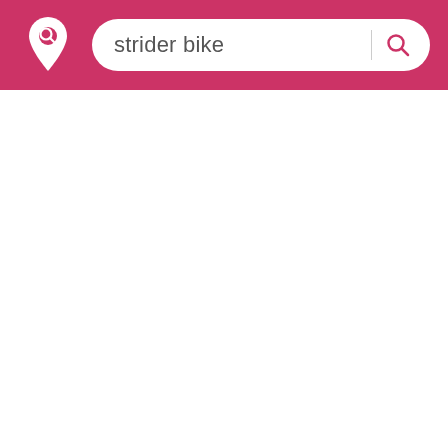[Figure (screenshot): App header bar with a location pin with magnifier logo on the left and a search box containing the text 'strider bike' with a search icon on the right, on a pink/crimson background.]